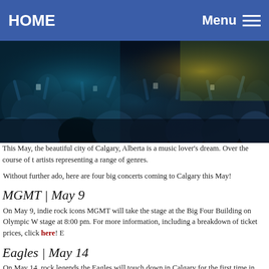HOME   Menu
[Figure (photo): Concert crowd photo showing audience members with hands raised, colorful lighting, dark background]
This May, the beautiful city of Calgary, Alberta is a music lover's dream. Over the course of the month, the city will play host to a number of world-class artists representing a range of genres.
Without further ado, here are four big concerts coming to Calgary this May!
MGMT | May 9
On May 9, indie rock icons MGMT will take the stage at the Big Four Building on Olympic Way. The show is set to take the stage at 8:00 pm. For more information, including a breakdown of ticket prices, click here! E
Eagles | May 14
On May 14, rock legends the Eagles will touch down in Calgary for the first time in more than Easy, is set to take the stage at the Scotiabank Saddledome at 8:00 pm. Find more informat